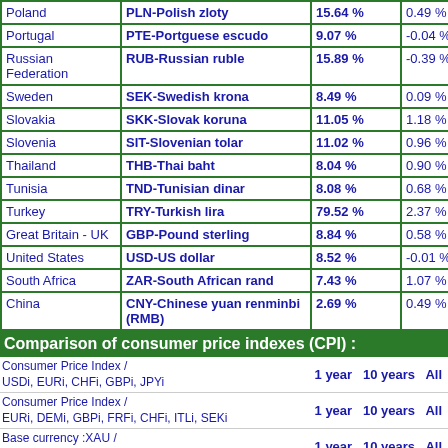| Country | Currency | Rate | Change |
| --- | --- | --- | --- |
| Poland | PLN-Polish zloty | 15.64 % | 0.49 % |
| Portugal | PTE-Portguese escudo | 9.07 % | -0.04 % |
| Russian Federation | RUB-Russian ruble | 15.89 % | -0.39 % |
| Sweden | SEK-Swedish krona | 8.49 % | 0.09 % |
| Slovakia | SKK-Slovak koruna | 11.05 % | 1.18 % |
| Slovenia | SIT-Slovenian tolar | 11.02 % | 0.96 % |
| Thailand | THB-Thai baht | 8.04 % | 0.90 % |
| Tunisia | TND-Tunisian dinar | 8.08 % | 0.68 % |
| Turkey | TRY-Turkish lira | 79.52 % | 2.37 % |
| Great Britain - UK | GBP-Pound sterling | 8.84 % | 0.58 % |
| United States | USD-US dollar | 8.52 % | -0.01 % |
| South Africa | ZAR-South African rand | 7.43 % | 1.07 % |
| China | CNY-Chinese yuan renminbi (RMB) | 2.69 % | 0.49 % |
Comparison of consumer price indexes (CPI) :
Consumer Price Index / USDi, EURi, CHFi, GBPi, JPYi
1 year  10 years  All
Consumer Price Index / EURi, DEMi, GBPi, FRFi, CHFi, ITLi, SEKi
1 year  10 years  All
Base currency :XAU / USDi, EURi, CHFi, GBPi, JPYi
1 year  10 years  All